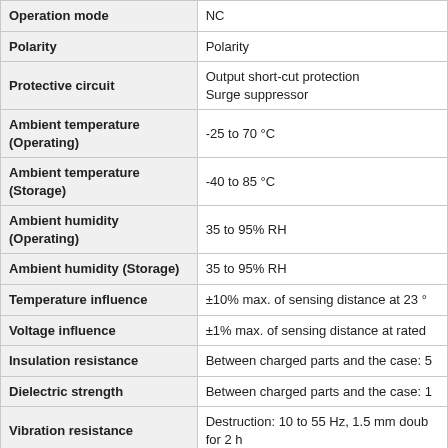| Property | Value |
| --- | --- |
| Operation mode | NC |
| Polarity | Polarity |
| Protective circuit | Output short-cut protection
Surge suppressor |
| Ambient temperature (Operating) | -25 to 70 °C |
| Ambient temperature (Storage) | -40 to 85 °C |
| Ambient humidity (Operating) | 35 to 95% RH |
| Ambient humidity (Storage) | 35 to 95% RH |
| Temperature influence | ±10% max. of sensing distance at 23 °… |
| Voltage influence | ±1% max. of sensing distance at rated… |
| Insulation resistance | Between charged parts and the case: 5… |
| Dielectric strength | Between charged parts and the case: 1… |
| Vibration resistance | Destruction: 10 to 55 Hz, 1.5 mm doub… for 2 h |
| Shock resistance | Destruction: 1000 m/s² 10 times each i… |
| Degree of protection | IEC: IP67
Company standard: Oil-proof |
| Connection method | Pre-wired models (5 m) |
| Material | Case: Brass nickel plating
Sensing surface: Polybutylene terephth…
Clamping nuts: Brass nickel plating
Toothed washers: Iron zinc plating |